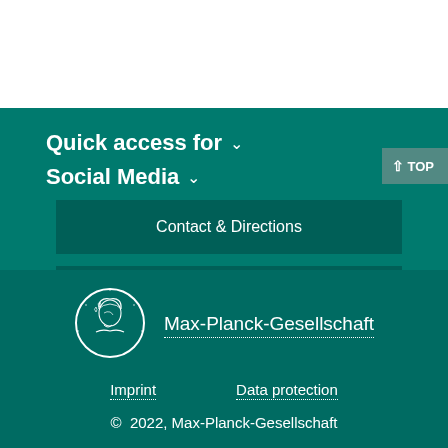Quick access for ∨
Social Media ∨
Contact & Directions
MAX Intranet
[Figure (logo): Max-Planck-Gesellschaft circular medallion logo with profile portrait, white outline on teal background]
Max-Planck-Gesellschaft
Imprint
Data protection
© 2022, Max-Planck-Gesellschaft